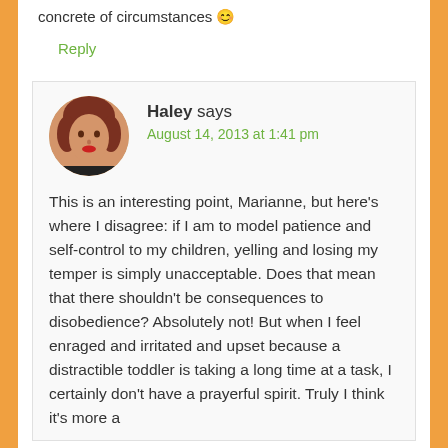concrete of circumstances 😊
Reply
Haley says
August 14, 2013 at 1:41 pm
[Figure (photo): Circular avatar photo of Haley, a woman with short reddish-brown hair and red lipstick]
This is an interesting point, Marianne, but here's where I disagree: if I am to model patience and self-control to my children, yelling and losing my temper is simply unacceptable. Does that mean that there shouldn't be consequences to disobedience? Absolutely not! But when I feel enraged and irritated and upset because a distractible toddler is taking a long time at a task, I certainly don't have a prayerful spirit. Truly I think it's more a